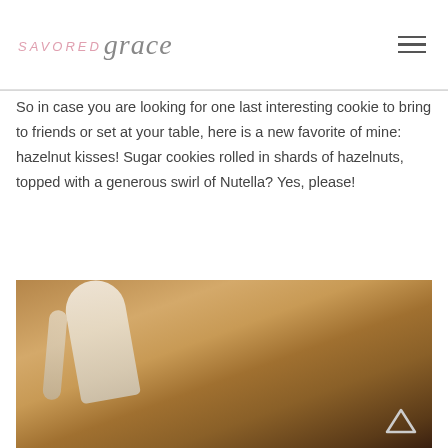savored grace
So in case you are looking for one last interesting cookie to bring to friends or set at your table, here is a new favorite of mine: hazelnut kisses! Sugar cookies rolled in shards of hazelnuts, topped with a generous swirl of Nutella? Yes, please!
[Figure (photo): Close-up photo of cookie dough in a dark mixing bowl with a wooden spoon or spatula, showing chunky pale golden dough.]